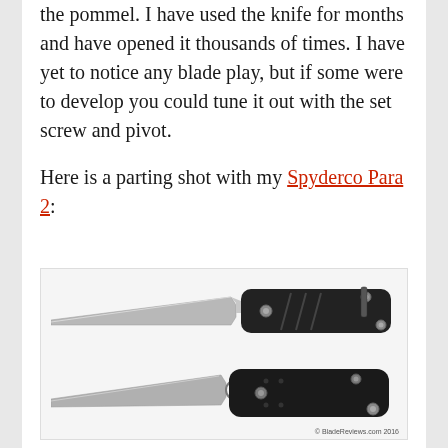the pommel. I have used the knife for months and have opened it thousands of times. I have yet to notice any blade play, but if some were to develop you could tune it out with the set screw and pivot.

Here is a parting shot with my Spyderco Para 2:
[Figure (photo): Two folding knives photographed side by side (stacked vertically): top knife has a grey/silver handle with black textured scales and a clip-point blade; bottom knife is the Spyderco Para 2 with black G10 handle and a drop-point blade with the signature Spyderco round hole. Watermark reads '© BladeReviews.com 2016'.]